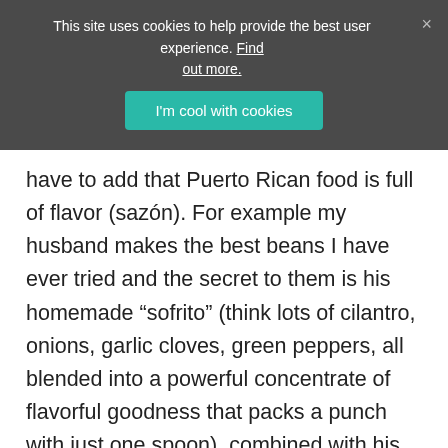This site uses cookies to help provide the best user experience. Find out more.
have to add that Puerto Rican food is full of flavor (sazón). For example my husband makes the best beans I have ever tried and the secret to them is his homemade “sofrito” (think lots of cilantro, onions, garlic cloves, green peppers, all blended into a powerful concentrate of flavorful goodness that packs a punch with just one spoon), combined with his mother’s techniques which is all some sort of family secret.
My second favorite thing is a desert,